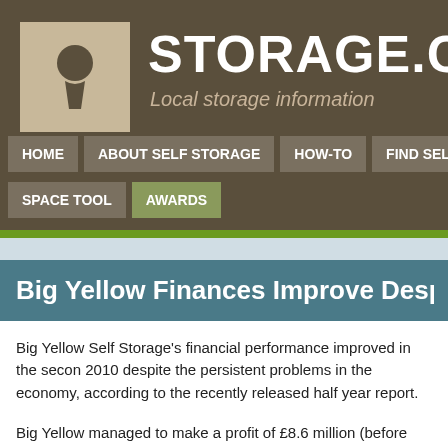[Figure (logo): Storage.co.uk website header with keyhole logo icon and site title STORAGE.CO.UK and tagline Local storage information on dark brown background]
HOME | ABOUT SELF STORAGE | HOW-TO | FIND SELF STOR... | SPACE TOOL | AWARDS
Big Yellow Finances Improve Despite ...
Big Yellow Self Storage's financial performance improved in the second half of 2010 despite the persistent problems in the economy, according to the recently released half year report.
Big Yellow managed to make a profit of £8.6 million (before tax), a dramatic turnaround from the loss of £3.4 million they registered in the same pe...